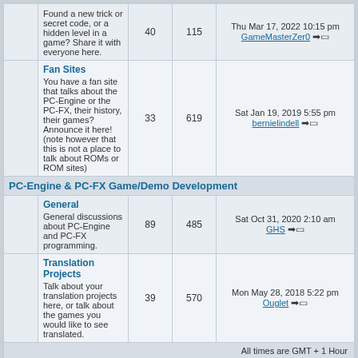|  | Forum | Topics | Posts | Last Post |
| --- | --- | --- | --- | --- |
|  | Fan Sites
You have a fan site that talks about the PC-Engine or the PC-FX, their history, their games? Announce it here! (note however that this is not a place to talk about ROMs or ROM sites) | 33 | 619 | Sat Jan 19, 2019 5:55 pm
bernielindell |
| PC-Engine & PC-FX Game/Demo Development |  |  |  |  |
|  | General
General discussions about PC-Engine and PC-FX programming. | 89 | 485 | Sat Oct 31, 2020 2:10 am
GHS |
|  | Translation Projects
Talk about your translation projects here, or talk about the games you would like to see translated. | 39 | 570 | Mon May 28, 2018 5:22 pm
Ouglet |
All times are GMT + 1 Hour
Who is Online